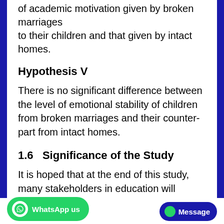of academic motivation given by broken marriages to their children and that given by intact homes.
Hypothesis V
There is no significant difference between the level of emotional stability of children from broken marriages and their counter-part from intact homes.
1.6   Significance of the Study
It is hoped that at the end of this study, many stakeholders in education will benefit from the findings. Teachers, curriculum planners, educational administrators, students and even the government will find this study useful. The findings of this study may form the frame work for organizing seminars aiming at correcting deficiencies especially in homes e process and also improve teache performance in the schools. This study will also be